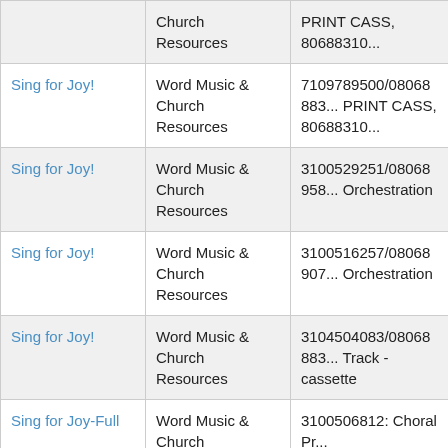| Title | Publisher | ID/Description |
| --- | --- | --- |
| [partial top row] | Church Resources | PRINT CASS |
| Sing for Joy! | Word Music & Church Resources | 7109789500/080688837... PRINT CASS, 806883100... |
| Sing for Joy! | Word Music & Church Resources | 3100529251/0806895... Orchestration |
| Sing for Joy! | Word Music & Church Resources | 3100516257/080689007... Orchestration |
| Sing for Joy! | Word Music & Church Resources | 3104504083/080688830... Track - cassette |
| Sing for Joy-Full | Word Music & Church Resources | 3100506812: Choral Pr... UP3100506812: Choral... |
| Sing for Joy- | Word Music & | 3100507819: Choral Pr... |